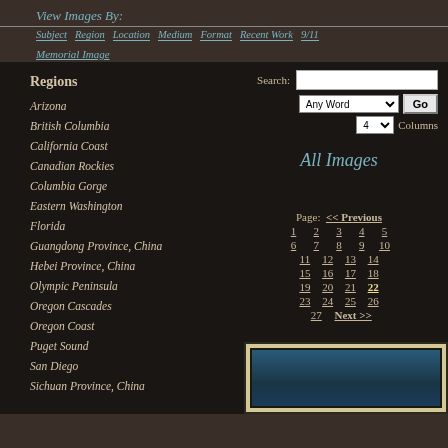View Images By:
Subject | Region | Location | Medium | Format | Recent Work | 9/11 | Memorial Image
Regions
Arizona
British Columbia
California Coast
Canadian Rockies
Columbia Gorge
Eastern Washington
Florida
Guangdong Province, China
Hebei Province, China
Olympic Peninsula
Oregon Cascades
Oregon Coast
Puget Sound
San Diego
Sichuan Province, China
Search: [input] Any Word [dropdown] Go | 4 [dropdown] Columns
All Images
Page: << Previous 1 2 3 4 5 6 7 8 9 10 11 12 13 14 15 16 17 18 19 20 21 22 23 24 25 26 27 Next >>
[Figure (photo): Thumbnail of a nature/landscape photograph showing blue tones, partially visible]